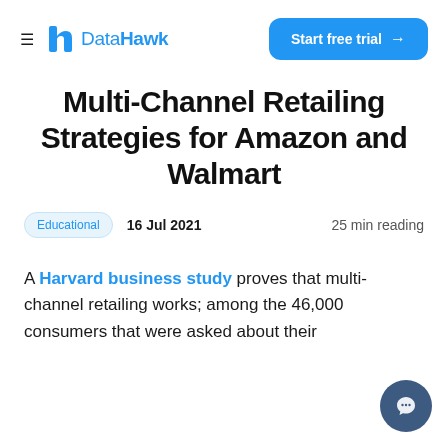DataHawk | Start free trial →
Multi-Channel Retailing Strategies for Amazon and Walmart
Educational  16 Jul 2021  25 min reading
A Harvard business study proves that multi-channel retailing works; among the 46,000 consumers that were asked about their